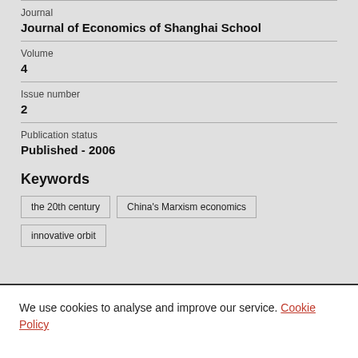Journal
Journal of Economics of Shanghai School
Volume
4
Issue number
2
Publication status
Published - 2006
Keywords
the 20th century
China's Marxism economics
innovative orbit
We use cookies to analyse and improve our service. Cookie Policy